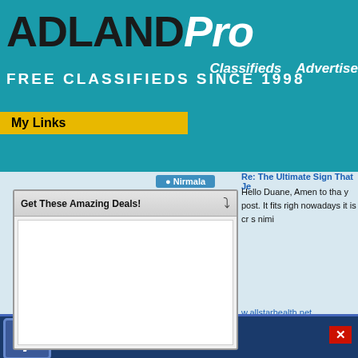[Figure (screenshot): ADLANDPro website header with teal background, logo, tagline FREE CLASSIFIEDS SINCE 1998, navigation links Classifieds and Advertise, My Links yellow bar]
ADLANDPro
FREE CLASSIFIEDS SINCE 1998
Classifieds   Advertise
My Links
Nirmala
Re: The Ultimate Sign That Je
Hello Duane, Amen to tha y post. It fits righ nowadays it is cr s nimi
Get These Amazing Deals!
w.allstarhealth.net
Ultimate Sign That Je
e,
mp in here about
Like us on Facebook!